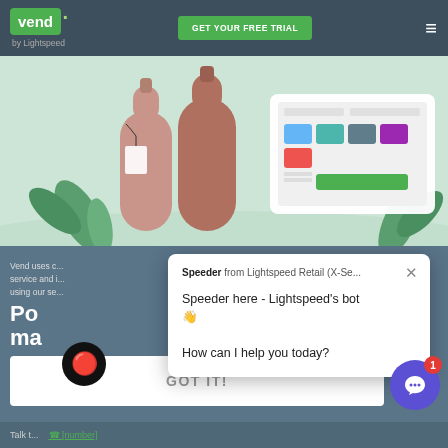vend by Lightspeed | GET YOUR FREE TRIAL | ≡
[Figure (photo): Hero image showing two terracotta/mauve decorative bottles with a price tag in front of a point-of-sale tablet interface showing colorful product buttons, with green tropical leaves in background on a mint green surface]
Vend uses c... service and i... using our se...
Po
ma
ma
Privac... li...
[Figure (screenshot): Chat bot popup with bot avatar emoji (fire/red drop character). Header: 'Speeder from Lightspeed Retail (X-Se...' with close X. Message: 'Speeder here - Lightspeed's bot 👋 How can I help you today?']
Speeder from Lightspeed Retail (X-Se...
Speeder here - Lightspeed's bot 👋
How can I help you today?
GOT IT!
Talk t...
Talk t... [phone number link]